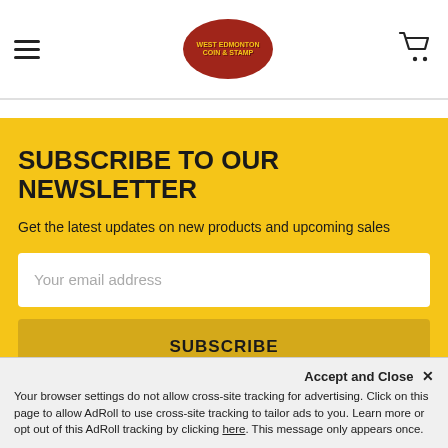West Edmonton Coin & Stamp — navigation header with hamburger menu and cart icon
SUBSCRIBE TO OUR NEWSLETTER
Get the latest updates on new products and upcoming sales
Your email address
SUBSCRIBE
Accept and Close ✕
Your browser settings do not allow cross-site tracking for advertising. Click on this page to allow AdRoll to use cross-site tracking to tailor ads to you. Learn more or opt out of this AdRoll tracking by clicking here. This message only appears once.